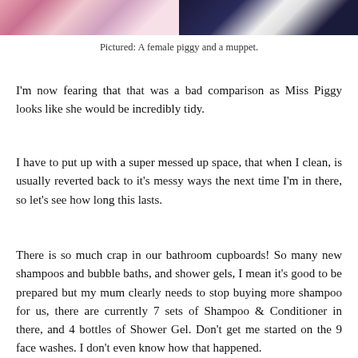[Figure (photo): Two side-by-side cropped photos at the top: left shows a female guinea pig (pink/colorful fluffy animal), right shows a muppet character (dark blue background with a large letter character).]
Pictured: A female piggy and a muppet.
I'm now fearing that that was a bad comparison as Miss Piggy looks like she would be incredibly tidy.
I have to put up with a super messed up space, that when I clean, is usually reverted back to it's messy ways the next time I'm in there, so let's see how long this lasts.
There is so much crap in our bathroom cupboards! So many new shampoos and bubble baths, and shower gels, I mean it's good to be prepared but my mum clearly needs to stop buying more shampoo for us, there are currently 7 sets of Shampoo & Conditioner in there, and 4 bottles of Shower Gel. Don't get me started on the 9 face washes. I don't even know how that happened.